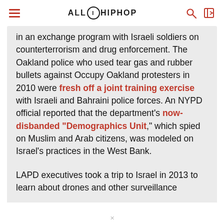ALL HIP HOP
in an exchange program with Israeli soldiers on counterterrorism and drug enforcement. The Oakland police who used tear gas and rubber bullets against Occupy Oakland protesters in 2010 were fresh off a joint training exercise with Israeli and Bahraini police forces. An NYPD official reported that the department's now-disbanded "Demographics Unit," which spied on Muslim and Arab citizens, was modeled on Israel's practices in the West Bank.

LAPD executives took a trip to Israel in 2013 to learn about drones and other surveillance